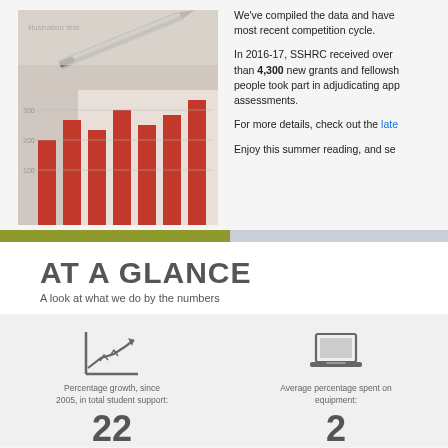[Figure (photo): Photo of a pen resting on a bar chart document with red bars]
We've compiled the data and have most recent competition cycle.
In 2016-17, SSHRC received over than 4,300 new grants and fellowships people took part in adjudicating applications assessments.
For more details, check out the latest
Enjoy this summer reading, and se
AT A GLANCE
A look at what we do by the numbers
[Figure (infographic): Upward trending line chart icon - Percentage growth, since 2005, in total student support: 22]
[Figure (infographic): Laptop/computer icon - Average percentage spent on equipment: 2]